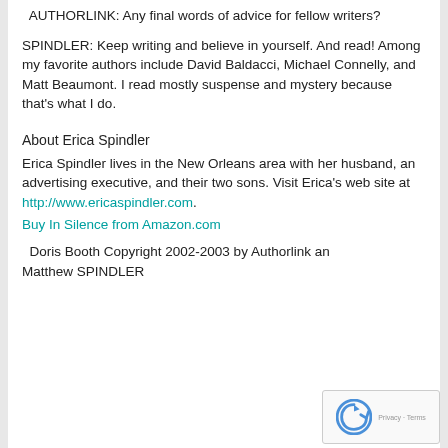AUTHORLINK: Any final words of advice for fellow writers?
SPINDLER: Keep writing and believe in yourself. And read! Among my favorite authors include David Baldacci, Michael Connelly, and Matt Beaumont. I read mostly suspense and mystery because that's what I do.
About Erica Spindler
Erica Spindler lives in the New Orleans area with her husband, an advertising executive, and their two sons. Visit Erica's web site at http://www.ericaspindler.com. Buy In Silence from Amazon.com
Doris Booth Copyright 2002-2003 by Authorlink and Matthew SPINDLER